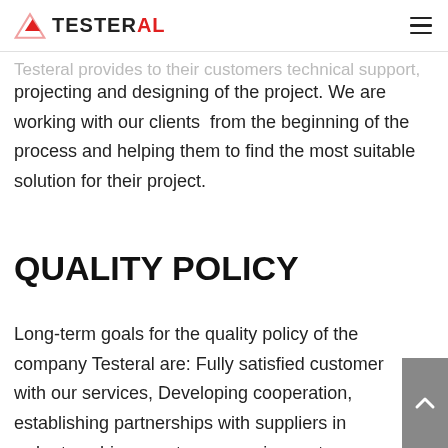TESTERAL
Testeral provides to their customers technical support, projecting and designing of the project. We are working with our clients from the beginning of the process and helping them to find the most suitable solution for their project.
QUALITY POLICY
Long-term goals for the quality policy of the company Testeral are: Fully satisfied customer with our services, Developing cooperation, establishing partnerships with suppliers in order to achieve customer requirements, Motivating employees and constant care of their further